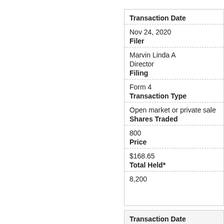| Field | Value |
| --- | --- |
| Transaction Date | Nov 24, 2020 |
| Filer | Marvin Linda A
Director |
| Filing | Form 4 |
| Transaction Type | Open market or private sale |
| Shares Traded | 800 |
| Price | $168.65 |
| Total Held* | 8,200 |
| Field | Value |
| --- | --- |
| Transaction Date | Nov 24, 2020 |